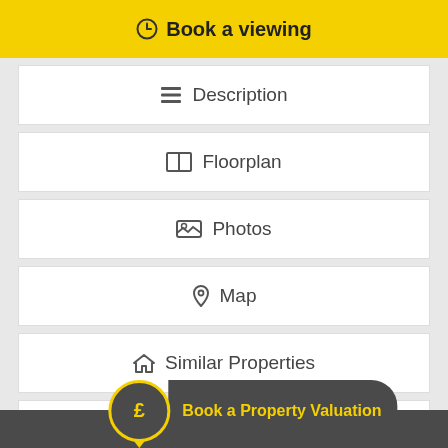Book a viewing
Description
Floorplan
Photos
Map
Similar Properties
Full Details
Book a Property Valuation